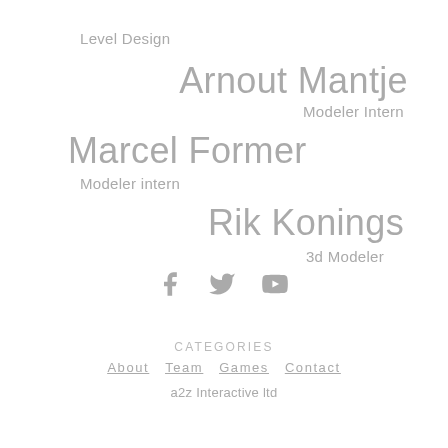Level Design
Arnout Mantje
Modeler Intern
Marcel Former
Modeler intern
Rik Konings
3d Modeler
[Figure (illustration): Social media icons: Facebook, Twitter, YouTube]
CATEGORIES
About
Team
Games
Contact
a2z Interactive ltd